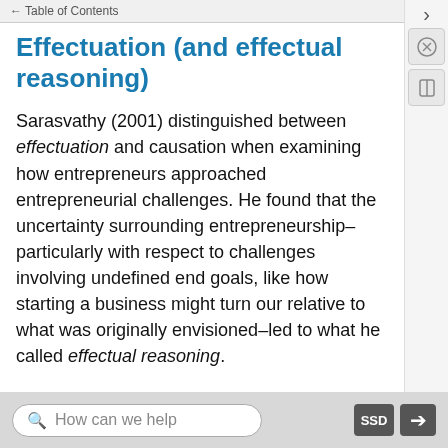Table of Contents
Effectuation (and effectual reasoning)
Sarasvathy (2001) distinguished between effectuation and causation when examining how entrepreneurs approached entrepreneurial challenges. He found that the uncertainty surrounding entrepreneurship–particularly with respect to challenges involving undefined end goals, like how starting a business might turn our relative to what was originally envisioned–led to what he called effectual reasoning.
Entirepreneur
Bolton and Thompson (2015) coined a new term